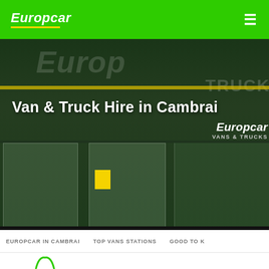Europcar
[Figure (photo): Europcar Vans & Trucks store front exterior, dark green signage with yellow stripe, showing windows and Europcar branding]
Van & Truck Hire in Cambrai
EUROPCAR IN CAMBRAI   TOP VANS STATIONS   GOOD TO K